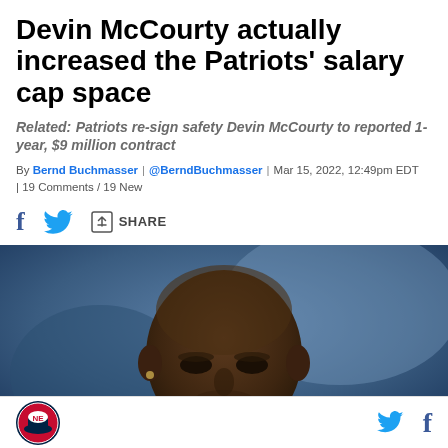Devin McCourty actually increased the Patriots' salary cap space
Related: Patriots re-sign safety Devin McCourty to reported 1-year, $9 million contract
By Bernd Buchmasser | @BerndBuchmasser | Mar 15, 2022, 12:49pm EDT | 19 Comments / 19 New
[Figure (photo): Close-up photo of Devin McCourty, a bald Black man, against a blurred blue background]
Patriots logo icon, Twitter and Facebook share icons